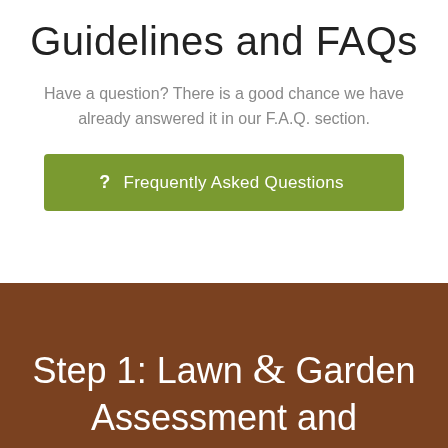Guidelines and FAQs
Have a question? There is a good chance we have already answered it in our F.A.Q. section.
[Figure (other): Green button with question mark icon reading: ? Frequently Asked Questions]
Step 1: Lawn & Garden Assessment and Approval